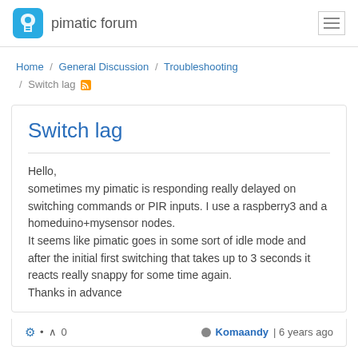pimatic forum
Home / General Discussion / Troubleshooting / Switch lag
Switch lag
Hello,
sometimes my pimatic is responding really delayed on switching commands or PIR inputs. I use a raspberry3 and a homeduino+mysensor nodes.
It seems like pimatic goes in some sort of idle mode and after the initial first switching that takes up to 3 seconds it reacts really snappy for some time again.
Thanks in advance
Komaandy | 6 years ago